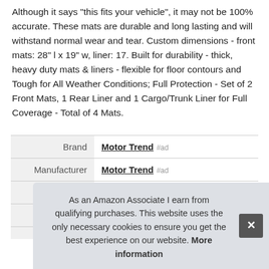Although it says 'this fits your vehicle', it may not be 100% accurate. These mats are durable and long lasting and will withstand normal wear and tear. Custom dimensions - front mats: 28" l x 19" w, liner: 17. Built for durability - thick, heavy duty mats & liners - flexible for floor contours and Tough for All Weather Conditions; Full Protection - Set of 2 Front Mats, 1 Rear Liner and 1 Cargo/Trunk Liner for Full Coverage - Total of 4 Mats.
|  |  |
| --- | --- |
| Brand | Motor Trend #ad |
| Manufacturer | Motor Trend #ad |
| Weight | 20 Pounds |
| P |  |
As an Amazon Associate I earn from qualifying purchases. This website uses the only necessary cookies to ensure you get the best experience on our website. More information